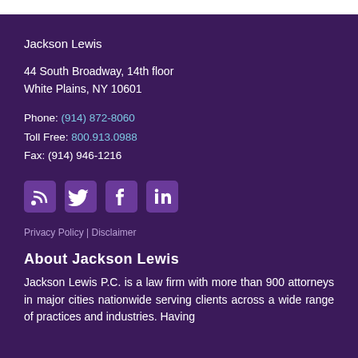Jackson Lewis
44 South Broadway, 14th floor
White Plains, NY 10601
Phone: (914) 872-8060
Toll Free: 800.913.0988
Fax: (914) 946-1216
[Figure (other): Four social media icons: RSS, Twitter, Facebook, LinkedIn]
Privacy Policy | Disclaimer
About Jackson Lewis
Jackson Lewis P.C. is a law firm with more than 900 attorneys in major cities nationwide serving clients across a wide range of practices and industries. Having